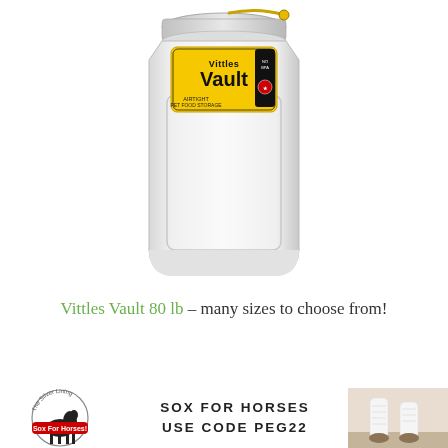[Figure (photo): Vittles Vault 80 lb white plastic airtight pet food storage container with yellow and black label on top]
Vittles Vault 80 lb – many sizes to choose from!
[Figure (logo): The Silver Lining Sox For Horses circular logo with horse silhouette]
SOX FOR HORSES USE CODE PEG22
[Figure (photo): Close-up photo of a horse wearing white leg wraps/socks on its lower legs]